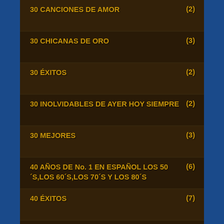30 CANCIONES DE AMOR (2)
30 CHICANAS DE ORO (3)
30 ÉXITOS (2)
30 INOLVIDABLES DE AYER HOY SIEMPRE (2)
30 MEJORES (3)
40 AÑOS DE No. 1 EN ESPAÑOL LOS 50 ´S,LOS 60´S,LOS 70´S Y LOS 80´S (6)
40 ÉXITOS (7)
40 ÉXITOS INOLVIDABLES (2)
40 GRANDES TRÍOS MEXICANOS UNICA E INIGUALABLE COLECCIÓN (1)